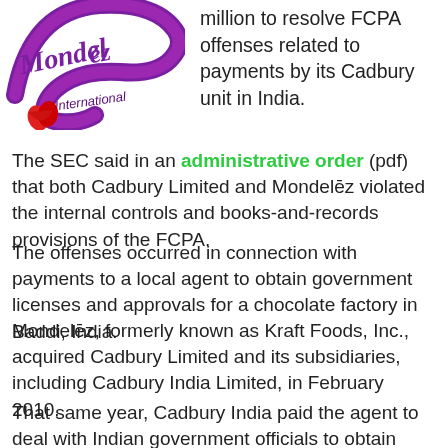[Figure (logo): Mondelez International logo — purple script text with red heart/swoosh accent]
million to resolve FCPA offenses related to payments by its Cadbury unit in India.
The SEC said in an administrative order (pdf) that both Cadbury Limited and Mondelēz violated the internal controls and books-and-records provisions of the FCPA.
The offenses occurred in connection with payments to a local agent to obtain government licenses and approvals for a chocolate factory in Baddi, India.
Mondelēz, formerly known as Kraft Foods, Inc., acquired Cadbury Limited and its subsidiaries, including Cadbury India Limited, in February 2010.
That same year, Cadbury India paid the agent to deal with Indian government officials to obtain licenses and